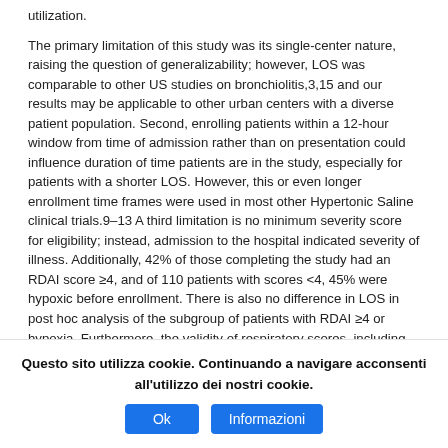utilization.
The primary limitation of this study was its single-center nature, raising the question of generalizability; however, LOS was comparable to other US studies on bronchiolitis,3,15 and our results may be applicable to other urban centers with a diverse patient population. Second, enrolling patients within a 12-hour window from time of admission rather than on presentation could influence duration of time patients are in the study, especially for patients with a shorter LOS. However, this or even longer enrollment time frames were used in most other Hypertonic Saline clinical trials.9–13 A third limitation is no minimum severity score for eligibility; instead, admission to the hospital indicated severity of illness. Additionally, 42% of those completing the study had an RDAI score ≥4, and of 110 patients with scores <4, 45% were hypoxic before enrollment. There is also no difference in LOS in post hoc analysis of the subgroup of patients with RDAI ≥4 or hypoxia. Furthermore, the validity of respiratory scores, including RDAI, as a predictor of respiratory distress, disposition, and LOS is questionable,25,27 suggesting a
Questo sito utilizza cookie. Continuando a navigare acconsenti all'utilizzo dei nostri cookie.